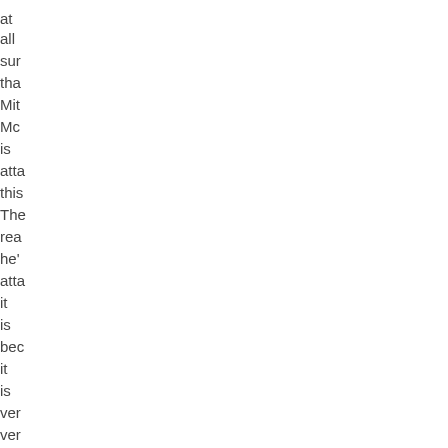at all sur tha Mit Mc is atta this The rea he' atta it is bec it is ver ver pop Po am